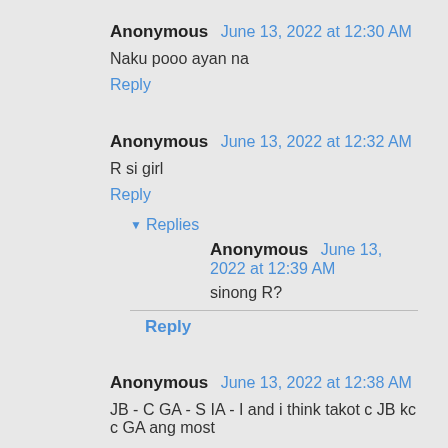Anonymous June 13, 2022 at 12:30 AM
Naku pooo ayan na
Reply
Anonymous June 13, 2022 at 12:32 AM
R si girl
Reply
Replies
Anonymous June 13, 2022 at 12:39 AM
sinong R?
Reply
Anonymous June 13, 2022 at 12:38 AM
JB - C GA - S IA - I and i think takot c JB kc c GA ang most